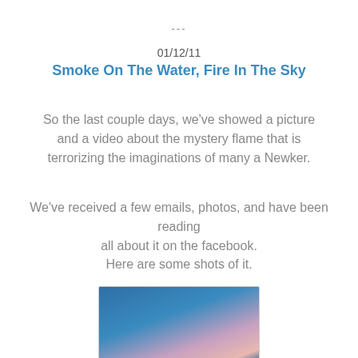---
01/12/11
Smoke On The Water, Fire In The Sky
So the last couple days, we've showed a picture and a video about the mystery flame that is terrorizing the imaginations of many a Newker.
We've received a few emails, photos, and have been reading all about it on the facebook.
Here are some shots of it.
[Figure (photo): A photo showing a blue sky with a glowing flame or light trail, pinkish-orange streak visible against deep blue sky background.]